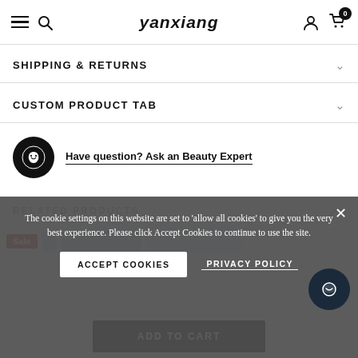yanxiang
SHIPPING & RETURNS
CUSTOM PRODUCT TAB
Have question? Ask an Beauty Expert
The cookie settings on this website are set to 'allow all cookies' to give you the very best experience. Please click Accept Cookies to continue to use the site.
RELATED PRODUCTS
ACCEPT COOKIES
PRIVACY POLICY
ADD TO CART